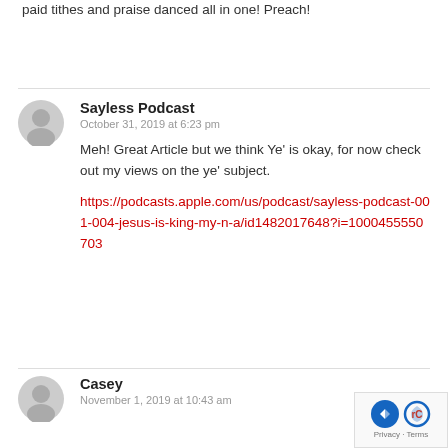Reading this felt like I just sat through A sermon, paid tithes and praise danced all in one! Preach!
Sayless Podcast
October 31, 2019 at 6:23 pm

Meh! Great Article but we think Ye' is okay, for now check out my views on the ye' subject.

https://podcasts.apple.com/us/podcast/sayless-podcast-001-004-jesus-is-king-my-n-a/id1482017648?i=1000455550703
Casey
November 1, 2019 at 10:43 am